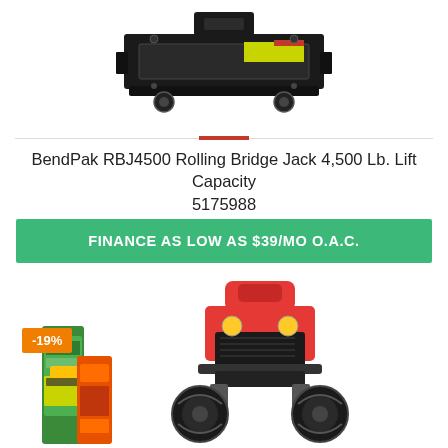[Figure (photo): BendPak RBJ4500 Rolling Bridge Jack product photo, showing a black metal rolling bridge jack with yellow labels on white background]
BendPak RBJ4500 Rolling Bridge Jack 4,500 Lb. Lift Capacity 5175988
FINANCE AS LOW AS $39/MO O.A.C.
[Figure (photo): Two product photos side by side: left shows filter/accessory items in green and yellow packaging; right shows a red and black ATV/riding mower viewed from the front. A -19% discount badge is shown.]